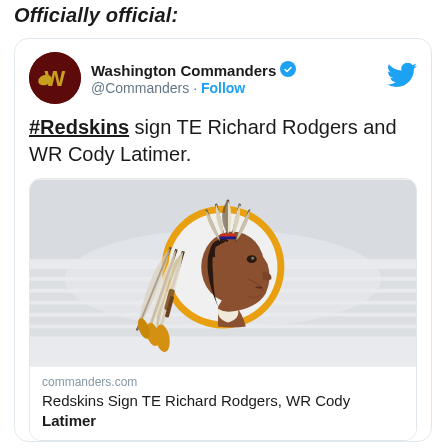Officially official:
[Figure (screenshot): Screenshot of a Washington Commanders tweet showing the old Washington Redskins logo (Native American head profile with feathers in a gold circle) against a stadium background. The tweet text reads: '#Redskins sign TE Richard Rodgers and WR Cody Latimer.' with a link preview to commanders.com titled 'Redskins Sign TE Richard Rodgers, WR Cody Latimer']